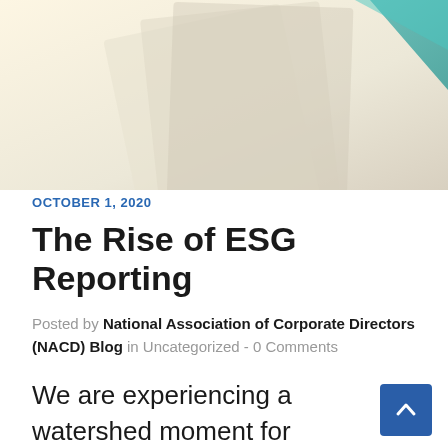[Figure (photo): Hero banner image showing papers/documents with a teal/green diagonal stripe in the upper right corner, warm cream/beige tones]
OCTOBER 1, 2020
The Rise of ESG Reporting
Posted by National Association of Corporate Directors (NACD) Blog in Uncategorized - 0 Comments
We are experiencing a watershed moment for environmental, social, and governance (ESG) issues.